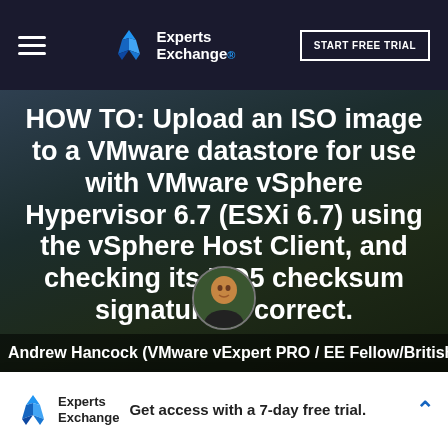Experts Exchange — START FREE TRIAL
HOW TO: Upload an ISO image to a VMware datastore for use with VMware vSphere Hypervisor 6.7 (ESXi 6.7) using the vSphere Host Client, and checking its MD5 checksum signature is correct.
[Figure (photo): Author avatar photo of Andrew Hancock, a man in a black polo shirt against a green background]
Andrew Hancock (VMware vExpert PRO / EE Fellow/British
Experts Exchange — Get access with a 7-day free trial.